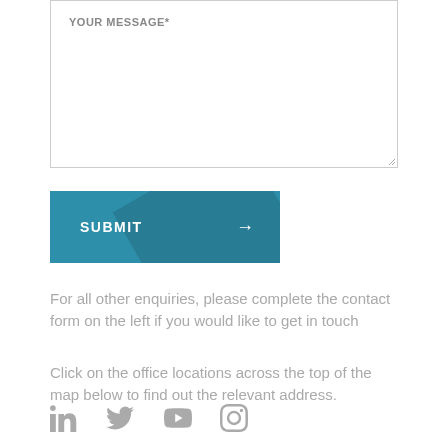YOUR MESSAGE*
SUBMIT →
For all other enquiries, please complete the contact form on the left if you would like to get in touch
Click on the office locations across the top of the map below to find out the relevant address.
[Figure (infographic): Row of four social media icons: LinkedIn, Twitter, YouTube, Instagram — all in grey]